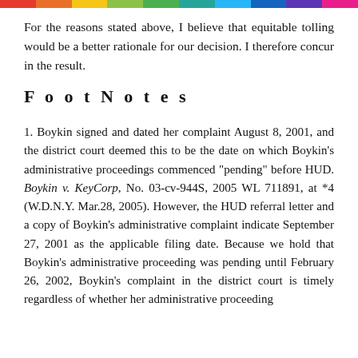For the reasons stated above, I believe that equitable tolling would be a better rationale for our decision. I therefore concur in the result.
FootNotes
1. Boykin signed and dated her complaint August 8, 2001, and the district court deemed this to be the date on which Boykin's administrative proceedings commenced "pending" before HUD. Boykin v. KeyCorp, No. 03-cv-944S, 2005 WL 711891, at *4 (W.D.N.Y. Mar.28, 2005). However, the HUD referral letter and a copy of Boykin's administrative complaint indicate September 27, 2001 as the applicable filing date. Because we hold that Boykin's administrative proceeding was pending until February 26, 2002, Boykin's complaint in the district court is timely regardless of whether her administrative proceeding